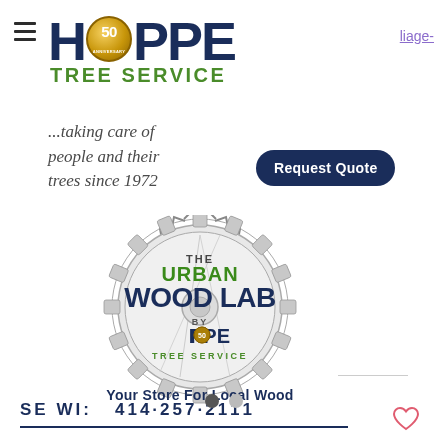[Figure (logo): Hoppe Tree Service logo with 50th Anniversary badge. Large dark blue bold text 'HOPPE' with a gold circular 50 ANNIVERSARY badge replacing the O, and green 'TREE SERVICE' text below.]
...taking care of people and their trees since 1972
liage-
[Figure (logo): Request Quote button - dark navy rounded rectangle button with white text 'Request Quote']
[Figure (logo): The Urban Wood Lab by Hoppe Tree Service logo. Circular saw blade graphic with 'THE URBAN WOOD LAB BY HOPPE TREE SERVICE' text. 'URBAN' in green, 'WOOD LAB' in dark blue bold. 'Your Store For Local Wood' below.]
SE WI:   414·257·2111